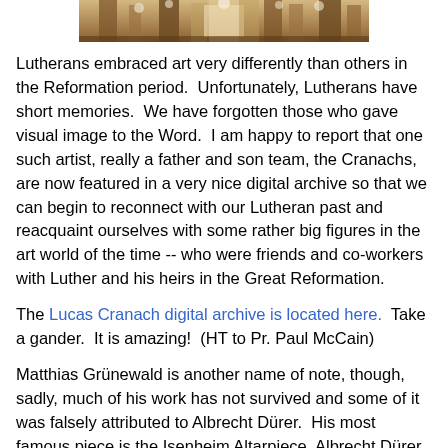[Figure (photo): Partial view of a church altar or interior with decorative elements, flowers, and ornate wooden furnishings, cropped at top.]
Lutherans embraced art very differently than others in the Reformation period.  Unfortunately, Lutherans have short memories.  We have forgotten those who gave visual image to the Word.  I am happy to report that one such artist, really a father and son team, the Cranachs, are now featured in a very nice digital archive so that we can begin to reconnect with our Lutheran past and reacquaint ourselves with some rather big figures in the art world of the time -- who were friends and co-workers with Luther and his heirs in the Great Reformation.
The Lucas Cranach digital archive is located here.  Take a gander.  It is amazing!  (HT to Pr. Paul McCain)
Matthias Grünewald is another name of note, though, sadly, much of his work has not survived and some of it was falsely attributed to Albrecht Dürer.  His most famous piece is the Isenheim Altarpiece. Albrecht Dürer was a contemporary of Luther and a great sympathizer with the Reformer.